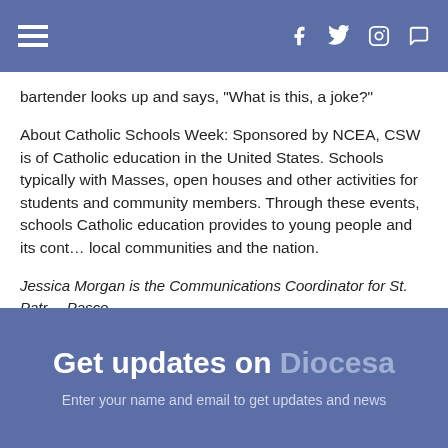Navigation bar with hamburger menu and social icons (Facebook, Twitter, Instagram, chat)
bartender looks up and says, "What is this, a joke?"
About Catholic Schools Week: Sponsored by NCEA, CSW is of Catholic education in the United States. Schools typically with Masses, open houses and other activities for students and community members. Through these events, schools Catholic education provides to young people and its contribution to local communities and the nation.
Jessica Morgan is the Communications Coordinator for St. Patrick Pasco.
Get updates on Diocesa
Enter your name and email to get updates and news